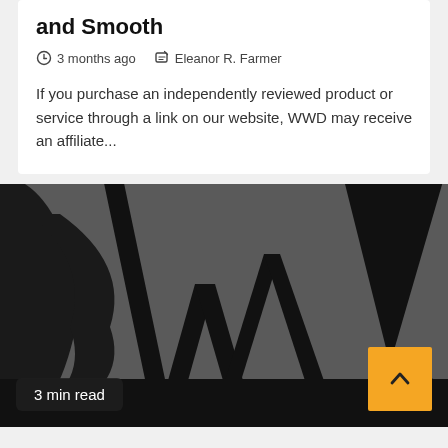and Smooth
3 months ago   Eleanor R. Farmer
If you purchase an independently reviewed product or service through a link on our website, WWD may receive an affiliate...
[Figure (logo): Large WWD logo letters on dark gray background, showing partial letters 'W' prominently in black on gray]
3 min read